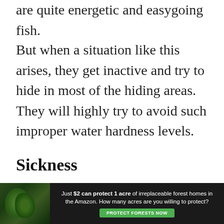are quite energetic and easygoing fish.
But when a situation like this arises, they get inactive and try to hide in most of the hiding areas. They will highly try to avoid such improper water hardness levels.
Sickness
The incorrect hardness level refers to the unsuitable habitat for the Neon Tetras directly. For a few times, they can adjust in medium or hard water levels in an aquarium. But gradually
[Figure (other): Advertisement banner: 'Just $2 can protect 1 acre of irreplaceable forest homes in the Amazon. How many acres are you willing to protect?' with a green PROTECT FORESTS NOW button and a dark forest background image.]